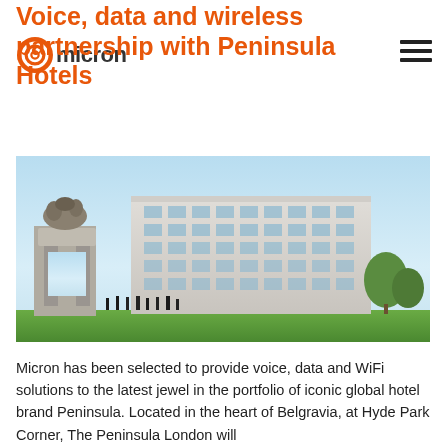micron
Voice, data and wireless partnership with Peninsula Hotels
[Figure (photo): Exterior photograph of The Peninsula London hotel building with Hyde Park Corner arch monument in the foreground, green park lawn, and trees]
Micron has been selected to provide voice, data and WiFi solutions to the latest jewel in the portfolio of iconic global hotel brand Peninsula. Located in the heart of Belgravia, at Hyde Park Corner, The Peninsula London will